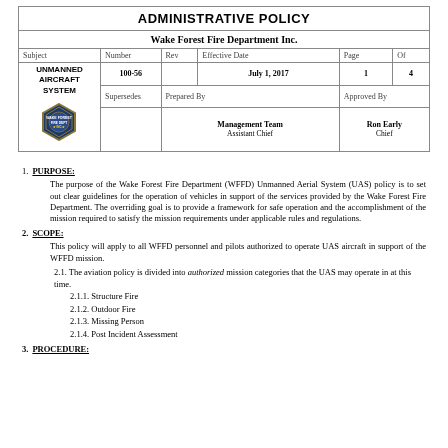ADMINISTRATIVE POLICY
Wake Forest Fire Department Inc.
| Subject | Number | Rev | Effective Date | Page | Of |
| --- | --- | --- | --- | --- | --- |
| UNMANNED AIRCRAFT SYSTEM | 100-56 |  | July 1, 2017 | 1 | 4 |
| [badge] | Supersedes | Prepared By: Management Team, Assistant Chief |  | Approved By: Ron Early, Chief |  |
1. PURPOSE:
The purpose of the Wake Forest Fire Department (WFFD) Unmanned Aerial System (UAS) policy is to set out clear guidelines for the operation of vehicles in support of the services provided by the Wake Forest Fire Department. The overriding goal is to provide a framework for safe operation and the accomplishment of the mission required to satisfy the mission requirements under applicable rules and regulations.
2. SCOPE:
This policy will apply to all WFFD personnel and pilots authorized to operate UAS aircraft in support of the WFFD mission.
2.1. The aviation policy is divided into authorized mission categories that the UAS may operate in at this time.
2.1.1. Structure Fire
2.1.2. Outdoor Fire
2.1.3. Missing Person
2.1.4. Post Incident Assessment
3. PROCEDURE: